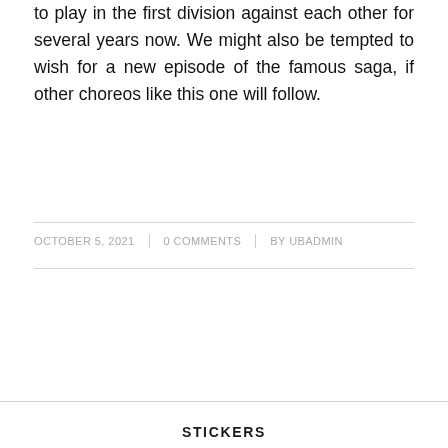to play in the first division against each other for several years now. We might also be tempted to wish for a new episode of the famous saga, if other choreos like this one will follow.
OCTOBER 5, 2021 | 0 COMMENTS | BY UBADMIN
STICKERS